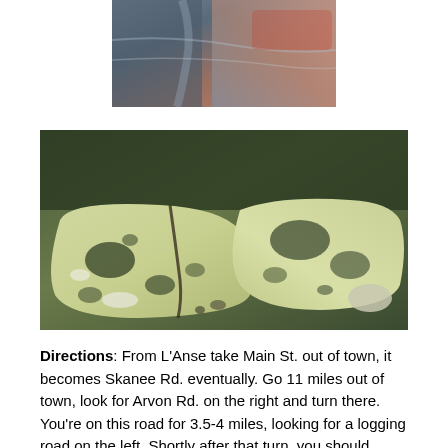[Figure (photo): Close-up photograph of water flowing over rocks, showing reflections and ripples with reddish and blue-grey tones.]
[Figure (photo): Close-up photograph of large pale greenish-yellow rocks with dark green and black mottled patterns, partially submerged in or near water.]
Directions: From L'Anse take Main St. out of town, it becomes Skanee Rd. eventually. Go 11 miles out of town, look for Arvon Rd. on the right and turn there. You're on this road for 3.5-4 miles, looking for a logging road on the left. Shortly after that turn, you should cross